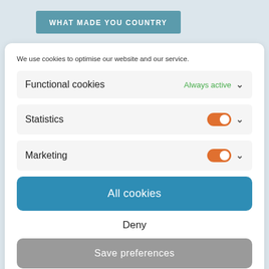WHAT MADE YOU COUNTRY
We use cookies to optimise our website and our service.
Functional cookies — Always active
Statistics — Toggle on
Marketing — Toggle on
All cookies
Deny
Save preferences